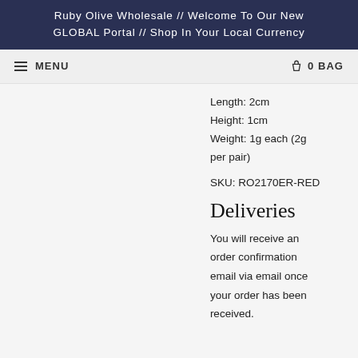Ruby Olive Wholesale // Welcome To Our New GLOBAL Portal // Shop In Your Local Currency
MENU
0 BAG
Length: 2cm
Height: 1cm
Weight: 1g each (2g per pair)
SKU: RO2170ER-RED
Deliveries
You will receive an order confirmation email via email once your order has been received.